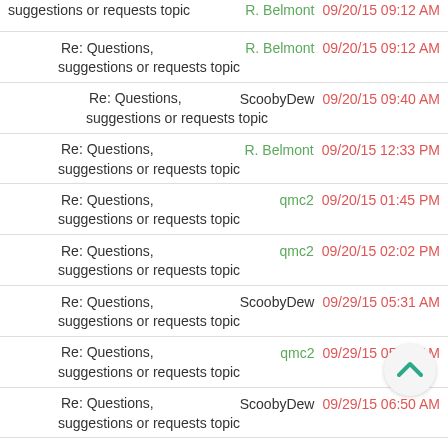suggestions or requests topic — 09/20/15 09:12 AM — R. Belmont — Re: Questions, suggestions or requests topic
ScoobyDew — 09/20/15 09:40 AM — Re: Questions, suggestions or requests topic
R. Belmont — 09/20/15 12:33 PM — Re: Questions, suggestions or requests topic
qmc2 — 09/20/15 01:45 PM — Re: Questions, suggestions or requests topic
qmc2 — 09/20/15 02:02 PM — Re: Questions, suggestions or requests topic
ScoobyDew — 09/29/15 05:31 AM — Re: Questions, suggestions or requests topic
qmc2 — 09/29/15 05:49 AM — Re: Questions, suggestions or requests topic
ScoobyDew — 09/29/15 06:50 AM — Re: Questions, suggestions or requests topic
qmc2 — 09/29/15 06:58 AM — Re: Questions, suggestions or requests topic